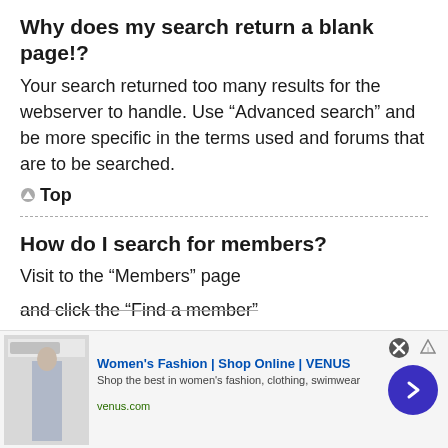Why does my search return a blank page!?
Your search returned too many results for the webserver to handle. Use “Advanced search” and be more specific in the terms used and forums that are to be searched.
▲ Top
How do I search for members?
Visit to the “Members” page and click the “Find a member”
[Figure (other): Advertisement banner for Women's Fashion | Shop Online | VENUS. Shows a fashion image thumbnail on the left, ad text in the middle, and a blue arrow circle button on the right. Close button (x) and info icon in top right corner.]